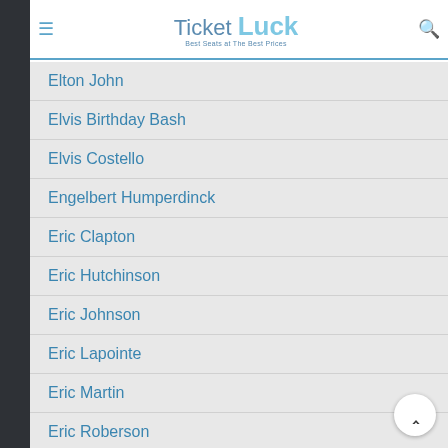TicketLuck — Best Seats at The Best Prices
Elton John
Elvis Birthday Bash
Elvis Costello
Engelbert Humperdinck
Eric Clapton
Eric Hutchinson
Eric Johnson
Eric Lapointe
Eric Martin
Eric Roberson
Everclear